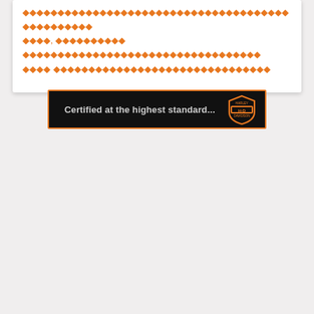◆◆◆◆◆◆◆◆◆◆◆◆◆◆◆◆◆◆◆◆◆◆◆◆◆◆◆◆ ◆◆◆◆, ◆◆◆◆◆◆◆◆◆◆ ◆◆◆◆◆◆◆◆◆◆◆◆◆◆◆◆◆◆◆◆◆◆◆◆◆ ◆◆◆◆ ◆◆◆◆◆◆◆◆◆◆◆◆◆◆◆◆◆◆◆◆◆
[Figure (logo): Harley-Davidson Bar and Shield logo in orange on black background with text 'Certified at the highest standard...']